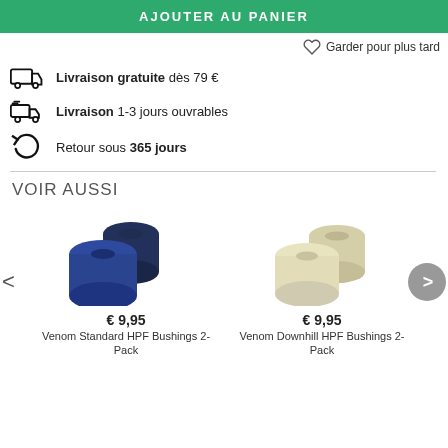AJOUTER AU PANIER
Garder pour plus tard
Livraison gratuite dès 79 €
Livraison 1-3 jours ouvrables
Retour sous 365 jours
VOIR AUSSI
[Figure (photo): Blue skateboard bushings (2 pieces), Venom Standard HPF Bushings 2-Pack]
€ 9,95
Venom Standard HPF Bushings 2-Pack
[Figure (photo): Cream/white skateboard bushings (2 pieces), Venom Downhill HPF Bushings 2-Pack]
€ 9,95
Venom Downhill HPF Bushings 2-Pack